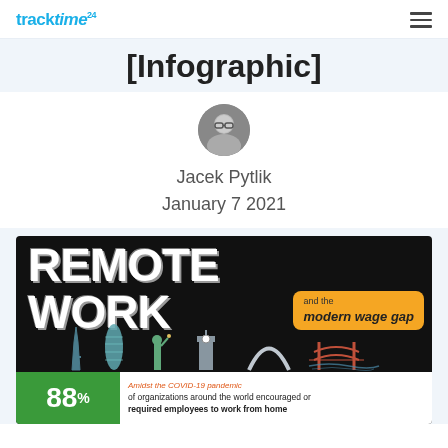tracktime24 [hamburger menu]
[Infographic]
[Figure (photo): Circular avatar photo of author Jacek Pytlik, a man with glasses]
Jacek Pytlik
January 7 2021
[Figure (infographic): Remote Work and the modern wage gap infographic. Dark background with large white bold text reading REMOTE WORK, an orange rounded rectangle badge reading 'and the modern wage gap', illustrated city landmarks (Eiffel Tower, Gherkin, Statue of Liberty, Big Ben, Gateway Arch, Golden Gate Bridge). Bottom section: green box with 88% and white box text: Amidst the COVID-19 pandemic, of organizations around the world encouraged or required employees to work from home]